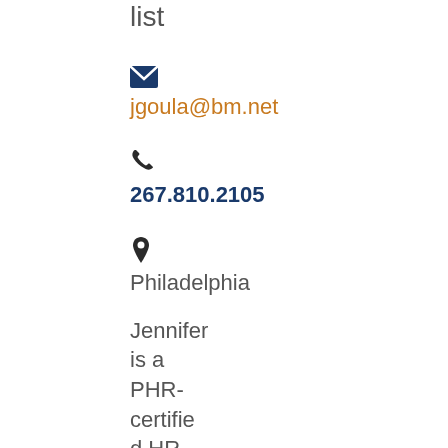list
jgoula@bm.net
267.810.2105
Philadelphia
Jennifer is a PHR-certified HR Generalist with experience in